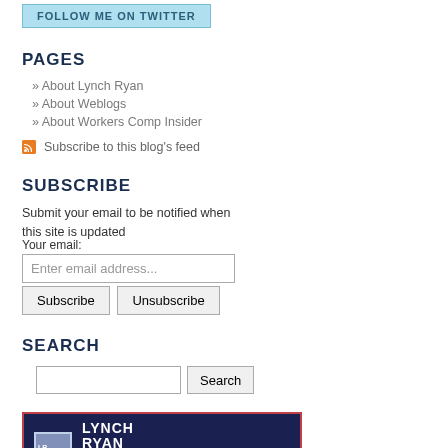[Figure (other): Follow me on Twitter button (blue/light blue button with text)]
PAGES
» About Lynch Ryan
» About Weblogs
» About Workers Comp Insider
Subscribe to this blog's feed
SUBSCRIBE
Submit your email to be notified when this site is updated
Your email:
Enter email address...
Subscribe   Unsubscribe
SEARCH
[Figure (other): Search text input box and Search button]
[Figure (logo): Lynch Ryan banner ad - Need help with your workers' comp program?]